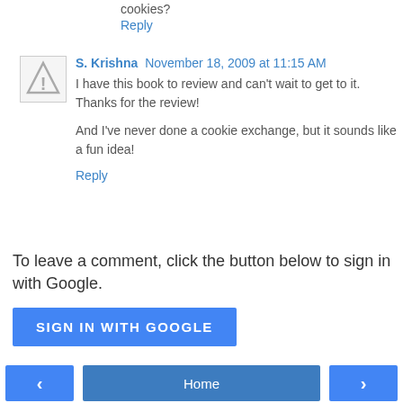cookies?
Reply
S. Krishna November 18, 2009 at 11:15 AM
I have this book to review and can't wait to get to it. Thanks for the review!
And I've never done a cookie exchange, but it sounds like a fun idea!
Reply
To leave a comment, click the button below to sign in with Google.
SIGN IN WITH GOOGLE
‹  Home  ›